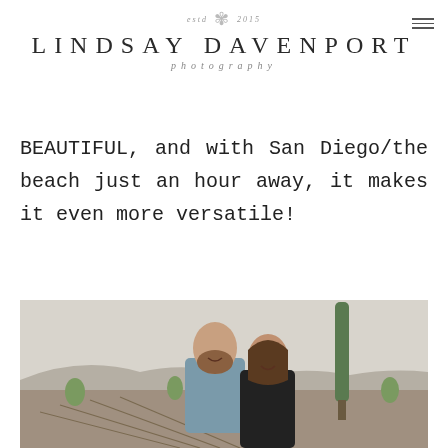estd 2015 LINDSAY DAVENPORT photography
BEAUTIFUL, and with San Diego/the beach just an hour away, it makes it even more versatile!
[Figure (photo): Couple smiling in a vineyard with rows of grapevines and a tall cypress tree in the background]